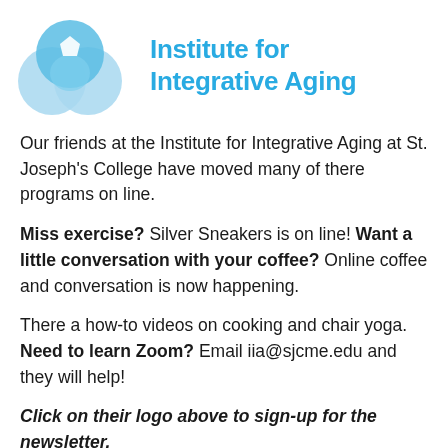[Figure (logo): Institute for Integrative Aging logo: overlapping blue circles with a white pentagon shape in the upper left circle, arranged in a flower pattern. To the right, text reading 'IIA' in large cyan letters and below 'Institute for Integrative Aging' in cyan bold text.]
Our friends at the Institute for Integrative Aging at St. Joseph's College have moved many of there programs on line.
Miss exercise? Silver Sneakers is on line! Want a little conversation with your coffee? Online coffee and conversation is now happening.
There a how-to videos on cooking and chair yoga. Need to learn Zoom? Email iia@sjcme.edu and they will help!
Click on their logo above to sign-up for the newsletter.